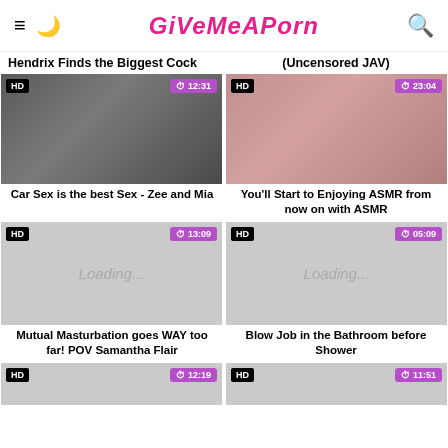GiVeMeAPorn
Hendrix Finds the Biggest Cock
(Uncensored JAV)
[Figure (photo): HD video thumbnail, 12:31 duration, Car Sex is the best Sex - Zee and Mia]
Car Sex is the best Sex - Zee and Mia
[Figure (photo): HD video thumbnail, 23:04 duration, You'll Start to Enjoying ASMR from now on with ASMR]
You'll Start to Enjoying ASMR from now on with ASMR
[Figure (photo): HD video thumbnail loading, 13:09 duration, Mutual Masturbation goes WAY too far! POV Samantha Flair]
Mutual Masturbation goes WAY too far! POV Samantha Flair
[Figure (photo): HD video thumbnail loading, 05:09 duration, Blow Job in the Bathroom before Shower]
Blow Job in the Bathroom before Shower
[Figure (photo): HD video thumbnail partial, 12:19 duration]
[Figure (photo): HD video thumbnail partial, 11:51 duration]